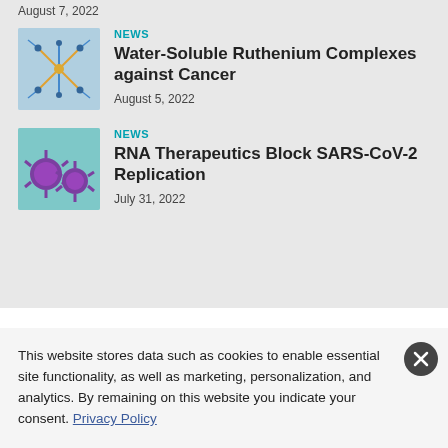August 7, 2022
[Figure (illustration): Molecular structure of ruthenium complex]
NEWS
Water-Soluble Ruthenium Complexes against Cancer
August 5, 2022
[Figure (illustration): Purple RNA/virus particle illustrations on teal background]
NEWS
RNA Therapeutics Block SARS-CoV-2 Replication
July 31, 2022
This website stores data such as cookies to enable essential site functionality, as well as marketing, personalization, and analytics. By remaining on this website you indicate your consent. Privacy Policy